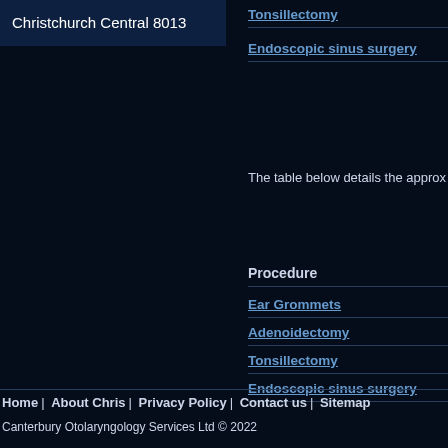Christchurch Central 8013
Tonsillectomy
Endoscopic sinus surgery
The table below details the approx
Procedure
Ear Grommets
Adenoidectomy
Tonsillectomy
Endoscopic sinus surgery
Home | About Chris | Privacy Policy | Contact us | Sitemap
Canterbury Otolaryngology Services Ltd © 2022